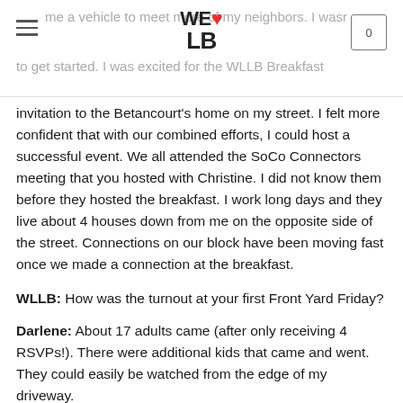WE❤LB — website header with hamburger menu and cart icon
invitation to the Betancourt's home on my street. I felt more confident that with our combined efforts, I could host a successful event. We all attended the SoCo Connectors meeting that you hosted with Christine. I did not know them before they hosted the breakfast. I work long days and they live about 4 houses down from me on the opposite side of the street. Connections on our block have been moving fast once we made a connection at the breakfast.
WLLB: How was the turnout at your first Front Yard Friday?
Darlene: About 17 adults came (after only receiving 4 RSVPs!). There were additional kids that came and went. They could easily be watched from the edge of my driveway.
WLLB: What did you provide your neighbors?